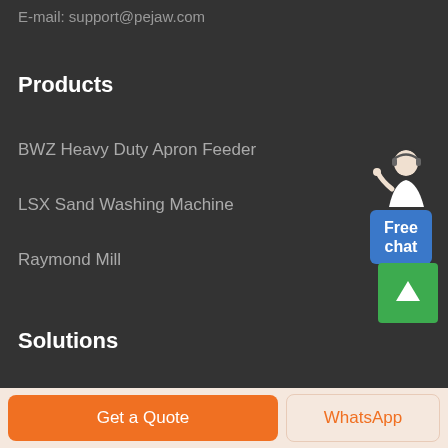E-mail: support@pejaw.com
Products
BWZ Heavy Duty Apron Feeder
LSX Sand Washing Machine
Raymond Mill
[Figure (illustration): Customer service person illustration with 'Free chat' button widget]
Solutions
Clay processing plant
[Figure (other): Green scroll-to-top button with upward arrow]
Get a Quote
WhatsApp